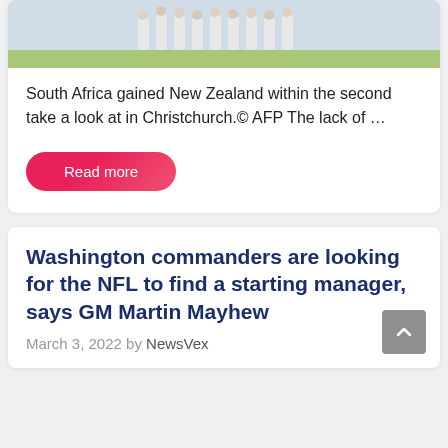[Figure (photo): Cricket players in white uniforms standing on a field, partially visible at top of card]
South Africa gained New Zealand within the second take a look at in Christchurch.© AFP The lack of …
Read more
Washington commanders are looking for the NFL to find a starting manager, says GM Martin Mayhew
March 3, 2022 by NewsVex